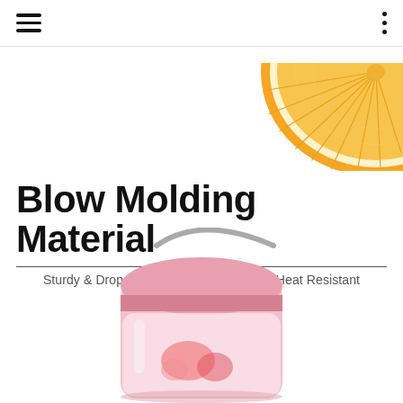navigation header with hamburger menu and dots menu
[Figure (photo): Orange citrus fruit slice, top-right corner, on white background]
Blow Molding Material
Sturdy & Drop Resistant    Cold & Heat Resistant
[Figure (photo): Pink water bottle with carry strap and fruit infuser interior, bottom center on white background]